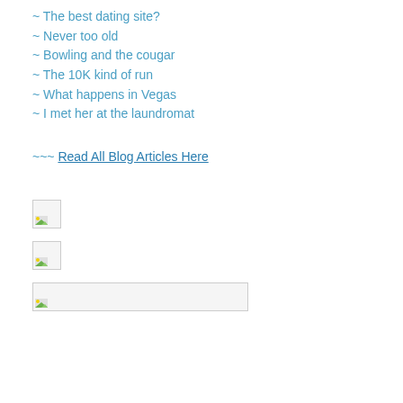~ The best dating site?
~ Never too old
~ Bowling and the cougar
~ The 10K kind of run
~ What happens in Vegas
~ I met her at the laundromat
~~~ Read All Blog Articles Here
[Figure (other): Broken/missing image placeholder, small square]
[Figure (other): Broken/missing image placeholder, small square]
[Figure (other): Broken/missing image placeholder, wide rectangle]